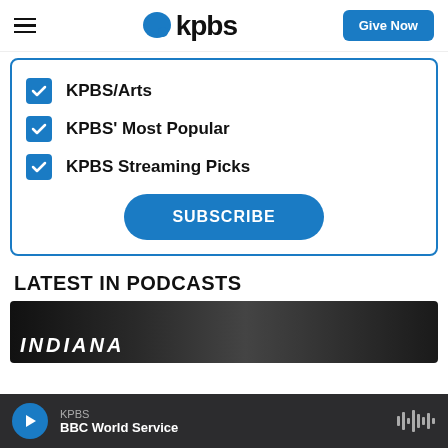KPBS
KPBS/Arts
KPBS' Most Popular
KPBS Streaming Picks
SUBSCRIBE
LATEST IN PODCASTS
[Figure (screenshot): Podcast thumbnail image with text/logo]
KPBS
BBC World Service